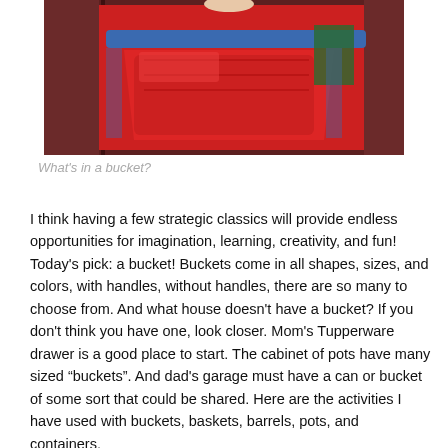[Figure (photo): Photo of red plastic buckets/containers with blue rim in an outdoor setting with wooden background]
What's in a bucket?
I think having a few strategic classics will provide endless opportunities for imagination, learning, creativity, and fun!  Today's pick: a bucket!  Buckets come in all shapes, sizes, and colors, with handles, without handles, there are so many to choose from.  And what house doesn't have a bucket?  If you don't think you have one, look closer.  Mom's Tupperware drawer is a good place to start.  The cabinet of pots have many sized “buckets”.  And dad's garage must have a can or bucket of some sort that could be shared.  Here are the activities I have used with buckets, baskets, barrels, pots, and containers.